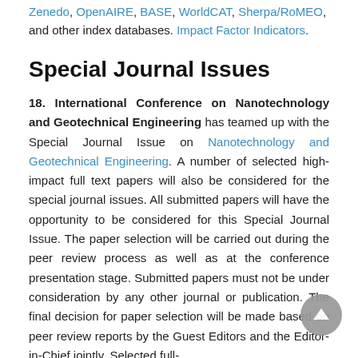Zenedo, OpenAIRE, BASE, WorldCAT, Sherpa/RoMEO, and other index databases. Impact Factor Indicators.
Special Journal Issues
18. International Conference on Nanotechnology and Geotechnical Engineering has teamed up with the Special Journal Issue on Nanotechnology and Geotechnical Engineering. A number of selected high-impact full text papers will also be considered for the special journal issues. All submitted papers will have the opportunity to be considered for this Special Journal Issue. The paper selection will be carried out during the peer review process as well as at the conference presentation stage. Submitted papers must not be under consideration by any other journal or publication. The final decision for paper selection will be made based on peer review reports by the Guest Editors and the Editor-in-Chief jointly. Selected full-